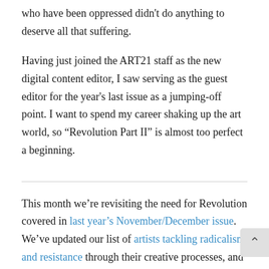who have been oppressed didn't do anything to deserve all that suffering.
Having just joined the ART21 staff as the new digital content editor, I saw serving as the guest editor for the year's last issue as a jumping-off point. I want to spend my career shaking up the art world, so “Revolution Part II” is almost too perfect a beginning.
This month we’re revisiting the need for Revolution covered in last year’s November/December issue. We’ve updated our list of artists tackling radicalism and resistance through their creative processes, and we’ll be checking in with Art21 Educators who are sparking personal revolutions